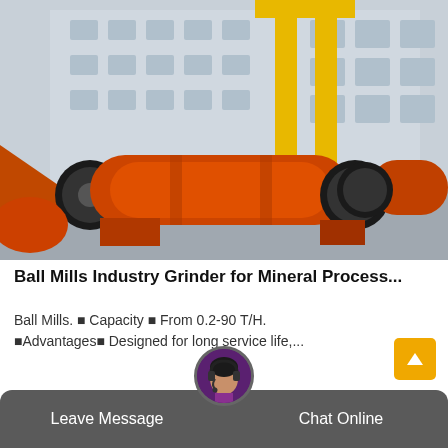[Figure (photo): Industrial ball mills painted orange sitting on a concrete yard in front of a large industrial building, with a yellow gantry crane overhead.]
Ball Mills Industry Grinder for Mineral Process...
Ball Mills. ⬤ Capacity ⬤ From 0.2-90 T/H. ⬤Advantages⬤ Designed for long service life,...
Leave Message
Chat Online